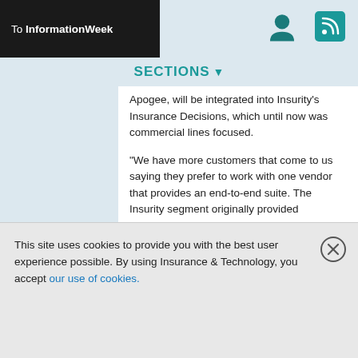To InformationWeek
Apogee, will be integrated into Insurity's Insurance Decisions, which until now was commercial lines focused.
"We have more customers that come to us saying they prefer to work with one vendor that provides an end-to-end suite. The Insurity segment originally provided commercial software, and customers were looking for personal lines software as well as commercial," says Jeffrey Glazer, president of ChoicePoint's insurance division. "The Steel Card component has given us the capability to offer personal policy lines processing."
Details of the acquisition were not released, but
This site uses cookies to provide you with the best user experience possible. By using Insurance & Technology, you accept our use of cookies.